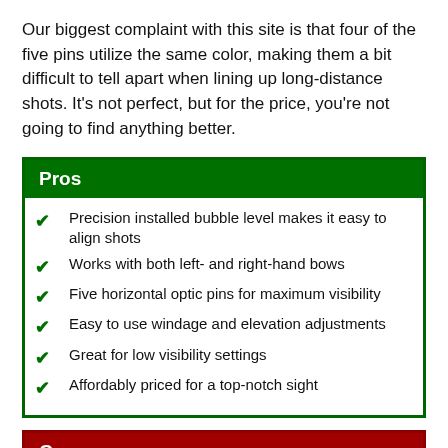Our biggest complaint with this site is that four of the five pins utilize the same color, making them a bit difficult to tell apart when lining up long-distance shots. It's not perfect, but for the price, you're not going to find anything better.
Pros
Precision installed bubble level makes it easy to align shots
Works with both left- and right-hand bows
Five horizontal optic pins for maximum visibility
Easy to use windage and elevation adjustments
Great for low visibility settings
Affordably priced for a top-notch sight
Cons